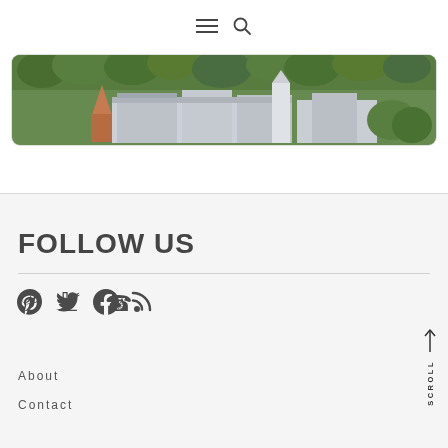[Figure (screenshot): Website navigation bar with hamburger menu icon and search icon]
[Figure (photo): Aerial view of a European castle or historic building complex surrounded by trees, with colorful rooftops visible from above]
FOLLOW US
[Figure (infographic): Social media icons: Pinterest, Twitter, Facebook, RSS feed]
About
Contact